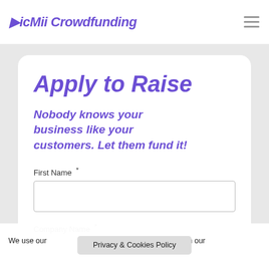PicMii Crowdfunding
Apply to Raise
Nobody knows your business like your customers. Let them fund it!
First Name *
Company Name *
We use our own and third-party cookies on our website to... Privacy & Cookies Policy